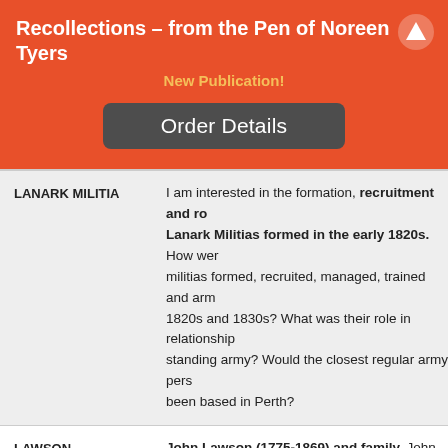Recollections – from the Pen of Noreen Tyers
New Publication!
Order Details
LANARK MILITIA	I am interested in the formation, recruitment and role of the Lanark Militias formed in the early 1820s. How were militias formed, recruited, managed, trained and armed in the 1820s and 1830s? What was their role in relationship to the standing army? Would the closest regular army personnel have been based in Perth?
LAWSON	John Lawson (1775-1869) and family. John was a Lanark Settler arriving on the Broke in 1820. Seeking any information about this family and related families. Family members include Elizabeth Somerville (1779-1850) and children Mary Boag (1798-1887) James (1799- 1889) Jennette (180...) Robert (1806-1892) Bella (1815-1901) John (1816-...) Peter (1819-1895). Bella (Elizabeth or Isabella) marr... Rob... and 1845 James marr... Agnes 1850 Ma...